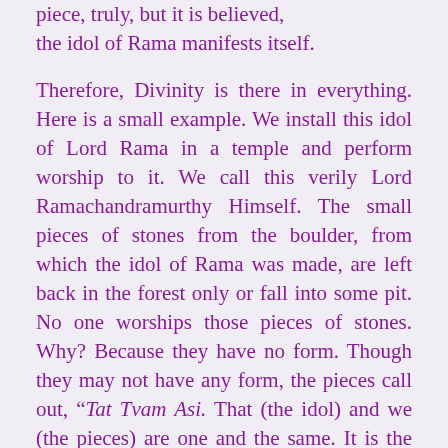piece, truly, but it is believed, the idol of Rama manifests itself.
Therefore, Divinity is there in everything. Here is a small example. We install this idol of Lord Rama in a temple and perform worship to it. We call this verily Lord Ramachandramurthy Himself. The small pieces of stones from the boulder, from which the idol of Rama was made, are left back in the forest only or fall into some pit. No one worships those pieces of stones. Why? Because they have no form. Though they may not have any form, the pieces call out, “Tat Tvam Asi. That (the idol) and we (the pieces) are one and the same. It is the sculptor who came and separated us, but otherwise we are one and the same.” This is referred to (in Vedanta) as “Tat Tvam Asi”; “Aham Brahmasmi” (we are that). However, we on our own, because of small thoughts, we do not attain...